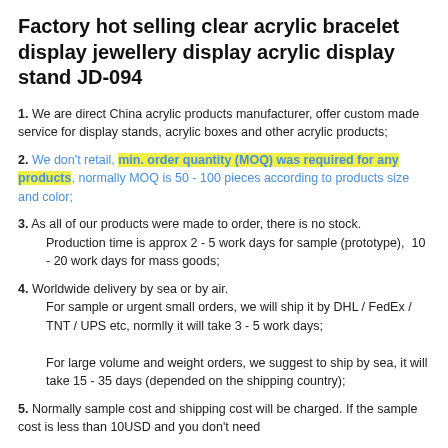Factory hot selling clear acrylic bracelet display jewellery display acrylic display stand JD-094
1. We are direct China acrylic products manufacturer, offer custom made service for display stands, acrylic boxes and other acrylic products;
2. We don't retail, min. order quantity (MOQ) was required for any products, normally MOQ is 50 - 100 pieces according to products size and color;
3. As all of our products were made to order, there is no stock. Production time is approx 2 - 5 work days for sample (prototype),  10 - 20 work days for mass goods;
4. Worldwide delivery by sea or by air. For sample or urgent small orders, we will ship it by DHL / FedEx / TNT / UPS etc, normlly it will take 3 - 5 work days; For large volume and weight orders, we suggest to ship by sea, it will take 15 - 35 days (depended on the shipping country);
5. Normally sample cost and shipping cost will be charged. If the sample cost is less than 10USD and you don't need